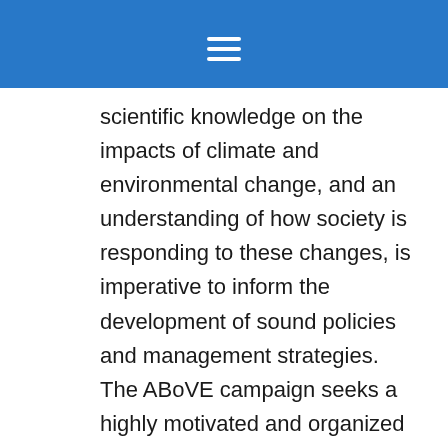scientific knowledge on the impacts of climate and environmental change, and an understanding of how society is responding to these changes, is imperative to inform the development of sound policies and management strategies. The ABoVE campaign seeks a highly motivated and organized individual working towards a bachelors or graduate degree in one of the following fields: environmental/earth science, anthropology, Indigenous studies, circumpolar studies, or environmental studies. The intern will conduct an evaluation of ABoVE science projects within the context of other research and monitoring activities to identify relevant existing and new stakeholders for ABoVE products. At the same time, the intern will assess stakeholder needs and data gaps that could